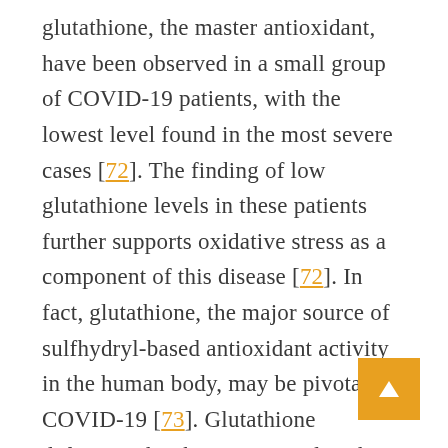glutathione, the master antioxidant, have been observed in a small group of COVID-19 patients, with the lowest level found in the most severe cases [72]. The finding of low glutathione levels in these patients further supports oxidative stress as a component of this disease [72]. In fact, glutathione, the major source of sulfhydryl-based antioxidant activity in the human body, may be pivotal in COVID-19 [73]. Glutathione deficiency has been proposed as the most likely cause of serious manifestations in COVID-19 [72]. The most common co-morbidities, hypertension [74]; obesity